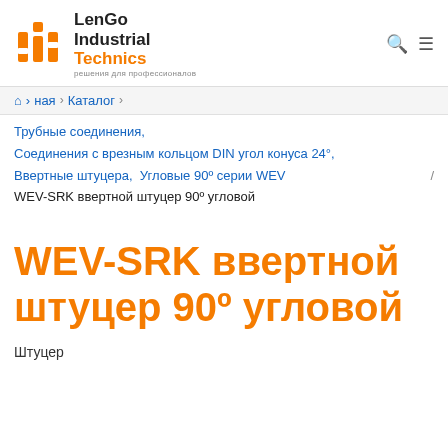LenGo Industrial Technics — решения для профессионалов
🏠 ная › Каталог ›
Трубные соединения,
Соединения с врезным кольцом DIN угол конуса 24°,
Ввертные штуцера, Угловые 90º серии WEV / WEV-SRK ввертной штуцер 90º угловой
WEV-SRK ввертной штуцер 90º угловой
Штуцер